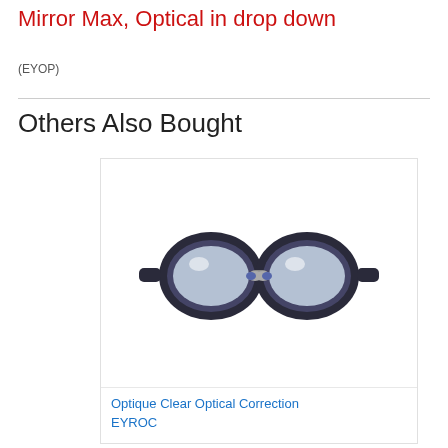Mirror Max, Optical in drop down
(EYOP)
Others Also Bought
[Figure (photo): Swimming goggles product image - Optique Clear Optical Correction goggles with clear lenses and dark navy frame/strap, showing front view of both lenses. Badge: RRP $87.99]
Optique Clear Optical Correction EYROC